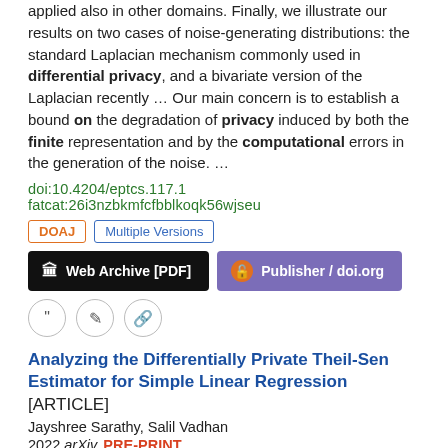applied also in other domains. Finally, we illustrate our results on two cases of noise-generating distributions: the standard Laplacian mechanism commonly used in differential privacy, and a bivariate version of the Laplacian recently  …  Our main concern is to establish a bound on the degradation of privacy induced by both the finite representation and by the computational errors in the generation of the noise.  …
doi:10.4204/eptcs.117.1  fatcat:26i3nzbkmfcfbblkoqk56wjseu
DOAJ | Multiple Versions
[Figure (infographic): Two access buttons: 'Web Archive [PDF]' (black background with archive icon) and 'Publisher / doi.org' (purple background with orange lock icon)]
[Figure (infographic): Three circular icon buttons: quote, edit, and link icons]
Analyzing the Differentially Private Theil-Sen Estimator for Simple Linear Regression [ARTICLE]
Jayshree Sarathy, Salil Vadhan
2022 arXiv  PRE-PRINT
In this paper, we focus on differentially private point and interval estimators for simple linear regression.  …  Motivated by recent work that highlights the strong empirical performance of a robust algorithm called , we provide a theoretical analysis of its privacy